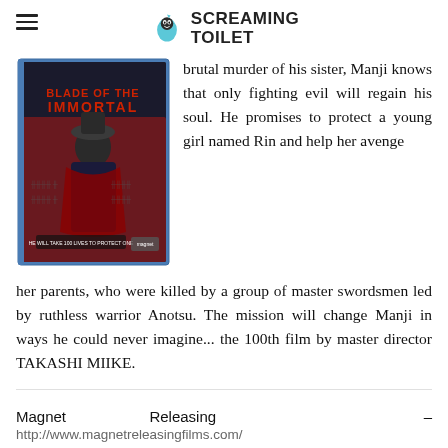SCREAMING TOILET
[Figure (photo): Blu-ray cover of 'Blade of the Immortal' movie]
brutal murder of his sister, Manji knows that only fighting evil will regain his soul. He promises to protect a young girl named Rin and help her avenge her parents, who were killed by a group of master swordsmen led by ruthless warrior Anotsu. The mission will change Manji in ways he could never imagine... the 100th film by master director TAKASHI MIIKE.
Magnet Releasing – http://www.magnetreleasingfilms.com/
“Blade of the Immortal” Blu-Ray